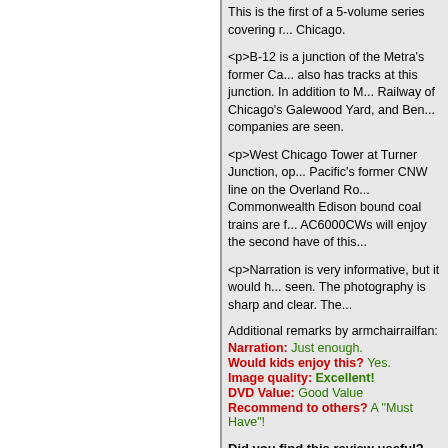This is the first of a 5-volume series covering r... Chicago. <p>B-12 is a junction of the Metra's former Ca... also has tracks at this junction. In addition to M... Railway of Chicago's Galewood Yard, and Ben... companies are seen. <p>West Chicago Tower at Turner Junction, op... Pacific's former CNW line on the Overland Ro... Commonwealth Edison bound coal trains are f... AC6000CWs will enjoy the second have of this... <p>Narration is very informative, but it would h... seen. The photography is sharp and clear. The...
Additional remarks by armchairrailfan: Narration: Just enough. Would kids enjoy this? Yes. Image quality: Excellent! DVD Value: Good Value Recommend to others? A "Must Have"!
Did you find this review useful? Yes